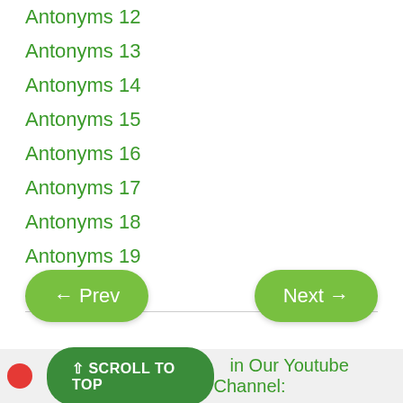Antonyms 12
Antonyms 13
Antonyms 14
Antonyms 15
Antonyms 16
Antonyms 17
Antonyms 18
Antonyms 19
Antonyms 20
← Prev
Next →
⇧ SCROLL TO TOP
in Our Youtube Channel: